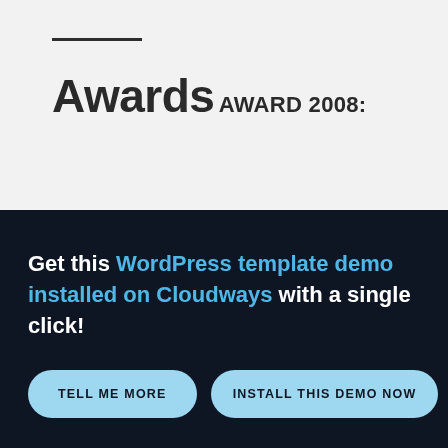Awards
AWARD 2008:
Get this WordPress template demo installed on Cloudways with a single click!
TELL ME MORE
INSTALL THIS DEMO NOW